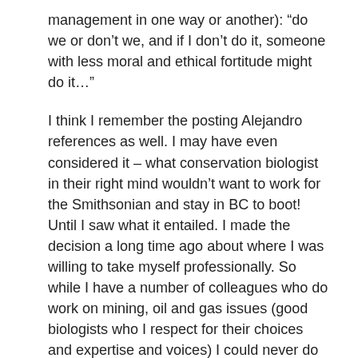management in one way or another): “do we or don’t we, and if I don’t do it, someone with less moral and ethical fortitude might do it…”
I think I remember the posting Alejandro references as well. I may have even considered it – what conservation biologist in their right mind wouldn’t want to work for the Smithsonian and stay in BC to boot! Until I saw what it entailed. I made the decision a long time ago about where I was willing to take myself professionally. So while I have a number of colleagues who do work on mining, oil and gas issues (good biologists who I respect for their choices and expertise and voices) I could never do it. I won’t even take offers to do riparian assessments that